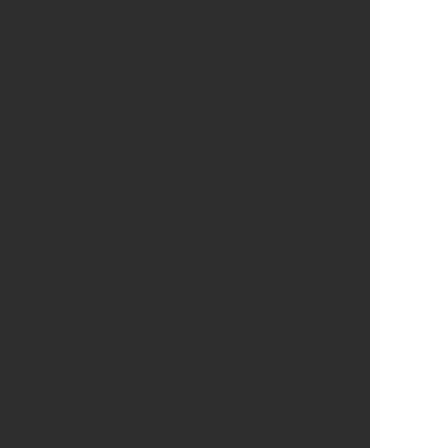304. C.-Y. Yang, K.F. Wong, M.S. Skaf, P.J. Rossky. "...solvation dynamics". // J. Chem. Phys. -2001. -V...
305. T.H. Murphrey, P.J. Rossky. "The role of solv...dynamics". // J. Chem. Phys. -1993. -V. 99. N 1. ...
306. M. Hilczer, W.M. Bartczak, J. Kroh. "Preexis...trap energy and structure". // J. Chem. Phys. -19...
307. A. Wallqvist, D. Thirumalai, B.J. Berne. "Pat...Chem. Phys. -1987. -V. 86. N 11. -P. 6404-6418.
308. M. Boero, M. Parinello, K. Terakura, T. Ikesh...of a hydrated electron in normal and supercritica...
309. W.M. Bartczak, M. Hilczer, J. Kroh. "A statis...V. 91. N 14. -P. 3834-3840.
310. A. Wallqvist, G. Martyna, B.J. Berne. "Behav...and absorption spectrum". // J. Phys. Chem. -198...
311. F.J. Webster, J. Schnitkcr, M.S. Friedrichs, R...electron: a nonadiabatic quantum simulation". // ...
312. V. Ludwig, K. Coutinho, S. Canuto. "Sequen...the hydrated electron". // Phys. Rev. B. -2004. -V...
313. J. Schnitkcr, K. Motakabbir, RJ. Rossky, R. ...